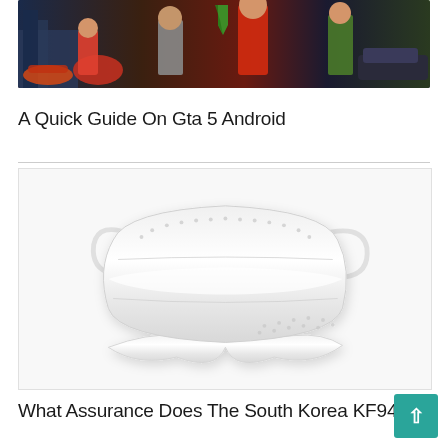[Figure (illustration): GTA 5 promotional banner image showing game characters and scenes]
A Quick Guide On Gta 5 Android
[Figure (photo): A white KF94 face mask on white background]
What Assurance Does The South Korea KF94